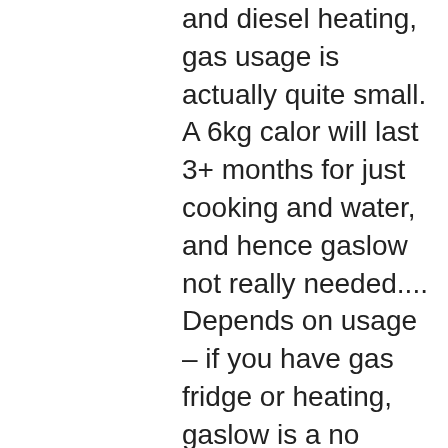and diesel heating, gas usage is actually quite small. A 6kg calor will last 3+ months for just cooking and water, and hence gaslow not really needed.... Depends on usage – if you have gas fridge or heating, gaslow is a no brainer!. Have to say, if I ever do need to add refillable gas, converting calor to gaslow is trivial – though I'd probably go Gas-it and a bigger underslung tank....